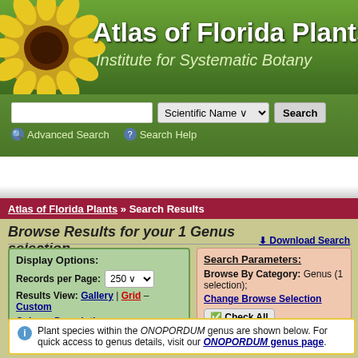[Figure (screenshot): Atlas of Florida Plants website header with sunflower photo and green gradient background showing title and subtitle]
Atlas of Florida Plants — Institute for Systematic Botany
Scientific Name [dropdown] Search | Advanced Search | Search Help
Atlas of Florida Plants » Search Results
Browse Results for your 1 Genus selection
Download Search
Display Options: Records per Page: 250 | Results View: Gallery | Grid – Custom Column Descriptions
Search Parameters: Browse By Category: Genus (1 selection); Change Browse Selection
Check All | Check Photos —
Plant species within the ONOPORDUM genus are shown below. For quick access to genus details, visit our ONOPORDUM genus page.